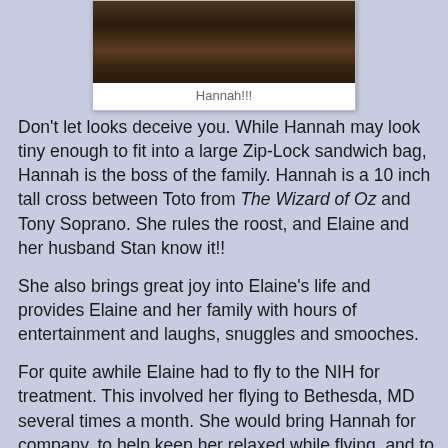[Figure (photo): Dark brown textured photo of Hannah (a small dog), shown in a white photo card frame with caption 'Hannah!!!']
Hannah!!!
Don't let looks deceive you.  While Hannah may look tiny enough to fit into a large Zip-Lock sandwich bag, Hannah is the boss of the family.  Hannah is a 10 inch tall cross between Toto from The Wizard of Oz and Tony Soprano.  She rules the roost, and Elaine and her husband Stan know it!!
She also brings great joy into Elaine's life and provides Elaine and her family with hours of entertainment and laughs, snuggles and smooches.
For quite awhile Elaine had to fly to the NIH for treatment.  This involved her flying to Bethesda, MD several times a month.  She would bring Hannah for company, to help keep her relaxed while flying, and to have a piece of home with her when she was away from home.  Flying these days is